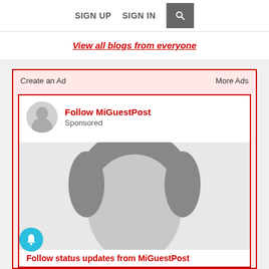SIGN UP  SIGN IN  [search]
View all blogs from everyone
Create an Ad
More Ads
Follow MiGuestPost
Sponsored
[Figure (photo): Large placeholder avatar/profile image of a person in grayscale, no face visible]
Follow status updates from MiGuestPost